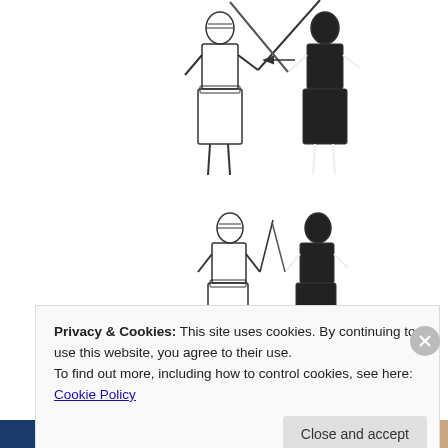[Figure (illustration): Two kendo practitioners illustrated in black and white performing tai-atari (body check technique). Upper image shows two figures with crossed shinai (bamboo swords) with an arrow indicating movement direction. Lower image shows the same two figures in close contact.]
Tai-atari image from Kendo, a Comprehensive Guide
Privacy & Cookies: This site uses cookies. By continuing to use this website, you agree to their use.
To find out more, including how to control cookies, see here: Cookie Policy
Close and accept